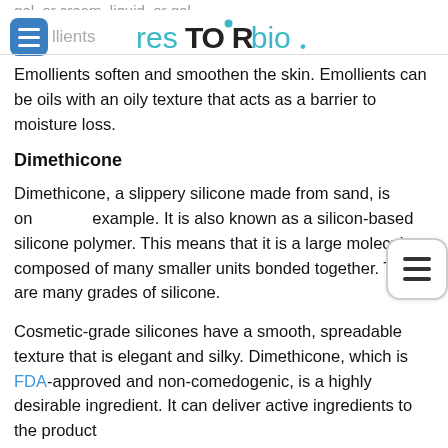resTORbio — Emollients
Emollients soften and smoothen the skin. Emollients can be oils with an oily texture that acts as a barrier to moisture loss.
Dimethicone
Dimethicone, a slippery silicone made from sand, is one example. It is also known as a silicon-based silicone polymer. This means that it is a large molecule composed of many smaller units bonded together. There are many grades of silicone.
Cosmetic-grade silicones have a smooth, spreadable texture that is elegant and silky. Dimethicone, which is FDA-approved and non-comedogenic, is a highly desirable ingredient. It can deliver active ingredients to the product